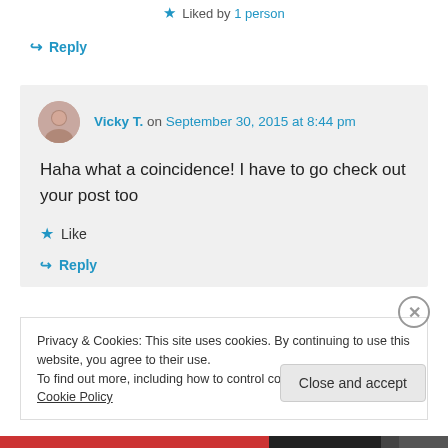★ Liked by 1 person
↪ Reply
Vicky T. on September 30, 2015 at 8:44 pm
Haha what a coincidence! I have to go check out your post too
★ Like
↪ Reply
Privacy & Cookies: This site uses cookies. By continuing to use this website, you agree to their use. To find out more, including how to control cookies, see here: Cookie Policy